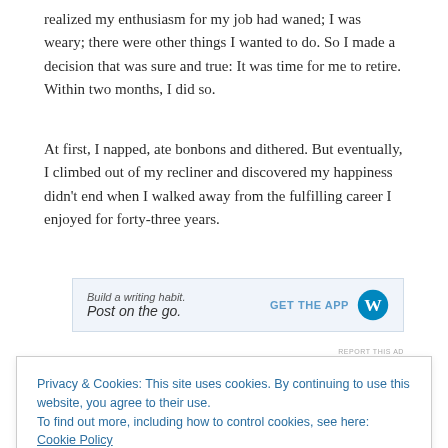realized my enthusiasm for my job had waned; I was weary; there were other things I wanted to do. So I made a decision that was sure and true: It was time for me to retire. Within two months, I did so.
At first, I napped, ate bonbons and dithered. But eventually, I climbed out of my recliner and discovered my happiness didn't end when I walked away from the fulfilling career I enjoyed for forty-three years.
[Figure (other): WordPress app advertisement banner: 'Build a writing habit. Post on the go.' with 'GET THE APP' link and WordPress logo]
Then last November, as I celebrated my seventy-fifth
Privacy & Cookies: This site uses cookies. By continuing to use this website, you agree to their use.
To find out more, including how to control cookies, see here: Cookie Policy
deeply, worry less often, express my love and gratitude more